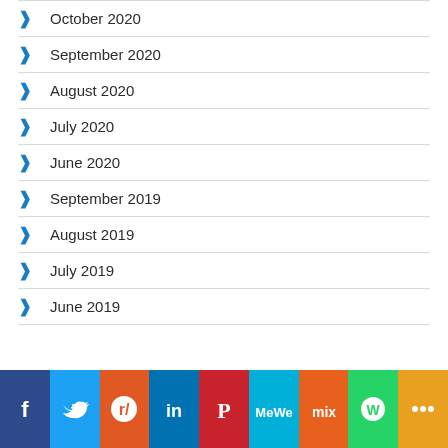October 2020
September 2020
August 2020
July 2020
June 2020
September 2019
August 2019
July 2019
June 2019
Facebook Twitter Reddit LinkedIn Pinterest MeWe Mix WhatsApp More